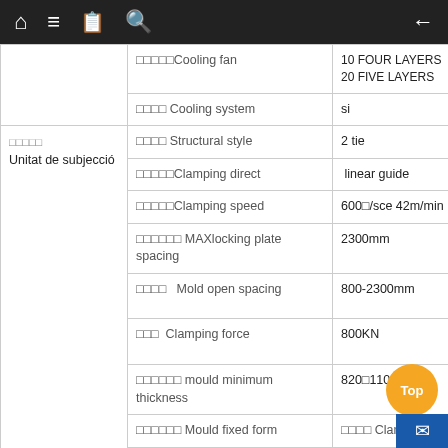Home Menu Bookmarks Search Back
| Category | Parameter | Value | Extra |
| --- | --- | --- | --- |
|  | □□□□□Cooling fan | 10 FOUR LAYERS
20 FIVE LAYERS |  |
|  | □□□□ Cooling system | si |  |
| □□□□□
Unitat de subjecció | □□□□ Structural style | 2 tie |  |
|  | □□□□□Clamping direct | linear guide |  |
|  | □□□□□Clamping speed | 600□/sce 42m/min |  |
|  | □□□□□□ MAXlocking plate spacing | 2300mm |  |
|  | □□□□ Mold open spacing | 800-2300mm | Min ... |
|  | □□□ Clamping force | 800KN | Max ... |
|  | □□□□□□ mould minimum thickness | 820□1100MM |  |
|  | □□□□□□ Mould fixed form | □□□□ Clamping cap |  |
|  | □□□□□□□□ Stroke control | □□□E-RULER |  |
|  | □□□□□□□ | 1500*1700mm |  |
| □□□□Die head |  | □□□□□□□□First-in first-out accumulator |  |